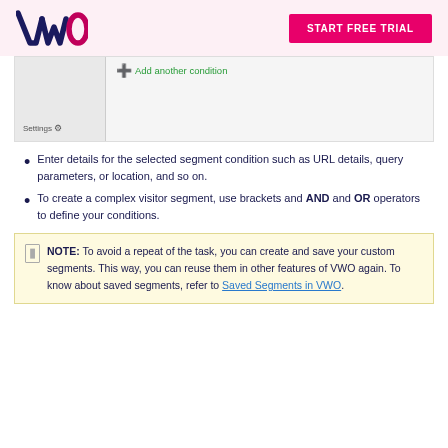VWO | START FREE TRIAL
[Figure (screenshot): UI screenshot showing 'Add another condition' button and Settings option in a segment builder interface]
Enter details for the selected segment condition such as URL details, query parameters, or location, and so on.
To create a complex visitor segment, use brackets and AND and OR operators to define your conditions.
NOTE: To avoid a repeat of the task, you can create and save your custom segments. This way, you can reuse them in other features of VWO again. To know about saved segments, refer to Saved Segments in VWO.